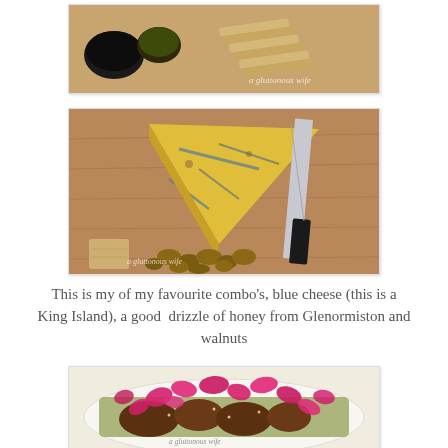[Figure (photo): Crackers on a wooden board with small bowls of dark dips/toppings, watermark reading 'a gluttonous wife']
[Figure (photo): A wedge of blue cheese (King Island) on a wooden cutting board surrounded by walnuts, with a large chef's knife beside it and crackers visible, watermark reading 'a gluttonous wife']
This is my of my favourite combo's, blue cheese (this is a King Island), a good  drizzle of honey from Glenormiston and walnuts
[Figure (photo): A white plate with grilled chicken pieces garnished with pink rose petals and herbs/grain salad, watermark reading 'a gluttonous wife']